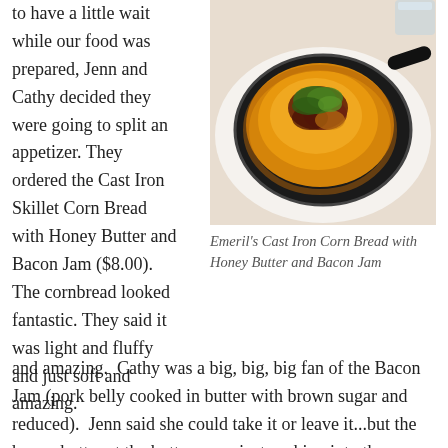to have a little wait while our food was prepared, Jenn and Cathy decided they were going to split an appetizer. They ordered the Cast Iron Skillet Corn Bread with Honey Butter and Bacon Jam ($8.00). The cornbread looked fantastic. They said it was light and fluffy and just soft and amazing.
[Figure (photo): A cast iron skillet containing golden cornbread topped with green herbs and bacon jam, served on a white plate.]
Emeril's Cast Iron Corn Bread with Honey Butter and Bacon Jam
Cathy was a big, big, big fan of the Bacon Jam (pork belly cooked in butter with brown sugar and reduced). Jenn said she could take it or leave it...but the honey butter at the bottom was just soaking into the